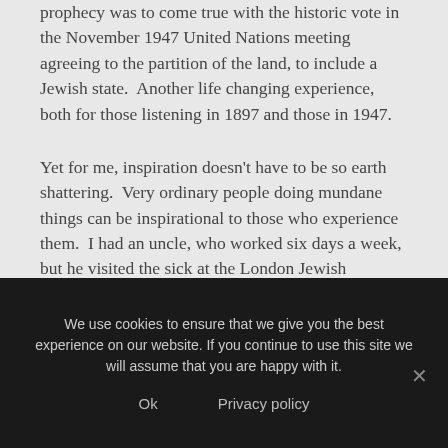prophecy was to come true with the historic vote in the November 1947 United Nations meeting agreeing to the partition of the land, to include a Jewish state.  Another life changing experience, both for those listening in 1897 and those in 1947.
Yet for me, inspiration doesn't have to be so earth shattering.  Very ordinary people doing mundane things can be inspirational to those who experience them.  I had an uncle, who worked six days a week, but he visited the sick at the London Jewish Hospital every shabbat afternoon, leading a service and chatting to people. He never thought he was doing anything exceptional, but to me, a youngster at the time, I was inspired by his giving up the only free time
We use cookies to ensure that we give you the best experience on our website. If you continue to use this site we will assume that you are happy with it.
Ok
Privacy policy